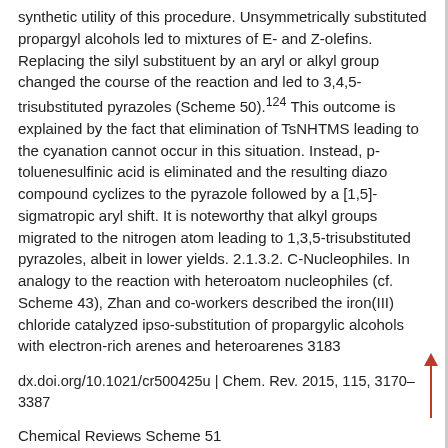synthetic utility of this procedure. Unsymmetrically substituted propargyl alcohols led to mixtures of E- and Z-olefins. Replacing the silyl substituent by an aryl or alkyl group changed the course of the reaction and led to 3,4,5-trisubstituted pyrazoles (Scheme 50).124 This outcome is explained by the fact that elimination of TsNHTMS leading to the cyanation cannot occur in this situation. Instead, p-toluenesulfinic acid is eliminated and the resulting diazo compound cyclizes to the pyrazole followed by a [1,5]-sigmatropic aryl shift. It is noteworthy that alkyl groups migrated to the nitrogen atom leading to 1,3,5-trisubstituted pyrazoles, albeit in lower yields. 2.1.3.2. C-Nucleophiles. In analogy to the reaction with heteroatom nucleophiles (cf. Scheme 43), Zhan and co-workers described the iron(III) chloride catalyzed ipso-substitution of propargylic alcohols with electron-rich arenes and heteroarenes 3183
dx.doi.org/10.1021/cr500425u | Chem. Rev. 2015, 115, 3170–3387
Chemical Reviews Scheme 51